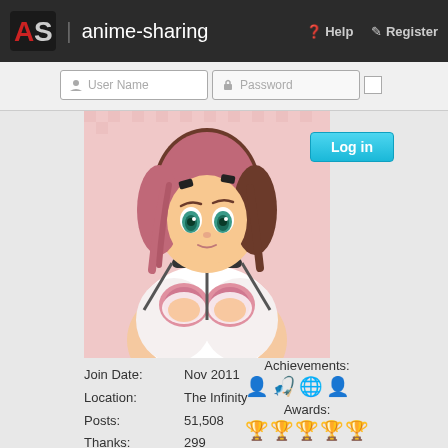AS | anime-sharing  Help  Register
[Figure (screenshot): Login form with User Name and Password fields and a Log in button]
[Figure (illustration): Anime character avatar image - girl with pink/brown hair, teal eyes, wearing white outfit with chains]
Join Date:  Nov 2011
Location:  The Infinity
Posts:  51,508
Thanks:  299
Thanked 2,799 Times in 1,937 Posts
Points: 132,895, Level: 100
[Figure (infographic): Blue progress bar for level]
Overall activity: 0%
[Figure (infographic): Green/light progress bar for overall activity]
Achievements:
[Figure (illustration): Achievement icons: person, star/fish, globe, person]
Awards:
[Figure (illustration): Award icons: five gold/orange trophy emoji-style icons]